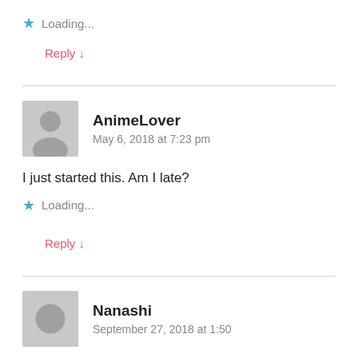★ Loading...
Reply ↓
AnimeLover
May 6, 2018 at 7:23 pm
I just started this. Am I late?
★ Loading...
Reply ↓
Nanashi
September 27, 2018 at 1:50